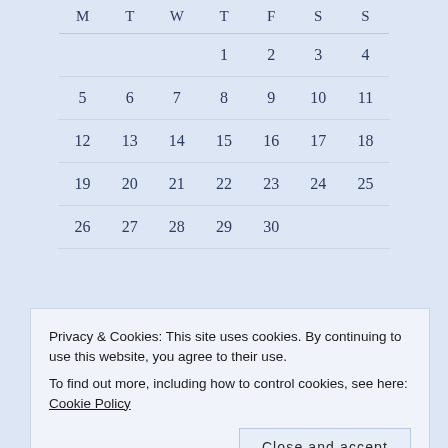| M | T | W | T | F | S | S |
| --- | --- | --- | --- | --- | --- | --- |
|  |  |  | 1 | 2 | 3 | 4 |
| 5 | 6 | 7 | 8 | 9 | 10 | 11 |
| 12 | 13 | 14 | 15 | 16 | 17 | 18 |
| 19 | 20 | 21 | 22 | 23 | 24 | 25 |
| 26 | 27 | 28 | 29 | 30 |  |  |
« Aug
Privacy & Cookies: This site uses cookies. By continuing to use this website, you agree to their use.
To find out more, including how to control cookies, see here: Cookie Policy
Close and accept
Email